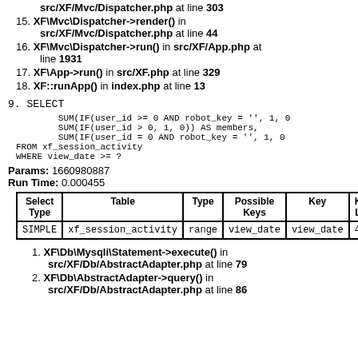XF\Mvc\Dispatcher->dispatch() in src/XF/Mvc/Dispatcher.php at line 303
15. XF\Mvc\Dispatcher->render() in src/XF/Mvc/Dispatcher.php at line 44
16. XF\Mvc\Dispatcher->run() in src/XF/App.php at line 1931
17. XF\App->run() in src/XF.php at line 329
18. XF::runApp() in index.php at line 13
9. SELECT
        SUM(IF(user_id >= 0 AND robot_key = '', 1, 0
        SUM(IF(user_id > 0, 1, 0)) AS members,
        SUM(IF(user_id = 0 AND robot_key = '', 1, 0
FROM xf_session_activity
WHERE view_date >= ?
Params: 1660980887
Run Time: 0.000455
| Select Type | Table | Type | Possible Keys | Key | Ke Le |
| --- | --- | --- | --- | --- | --- |
| SIMPLE | xf_session_activity | range | view_date | view_date | 4 |
1. XF\Db\Mysqli\Statement->execute() in src/XF/Db/AbstractAdapter.php at line 79
2. XF\Db\AbstractAdapter->query() in src/XF/Db/AbstractAdapter.php at line 86